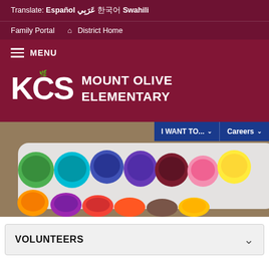Translate: Español عَرَبِي 한국어 Swahili
Family Portal  District Home
≡ MENU
KCS MOUNT OLIVE ELEMENTARY
[Figure (photo): Photo of colorful watercolor paint pots in a white palette tray on a wooden surface, with dropdown buttons 'I WANT TO...' and 'Careers' overlaid at top right]
I WANT TO... ∨   Careers ∨
VOLUNTEERS ∨